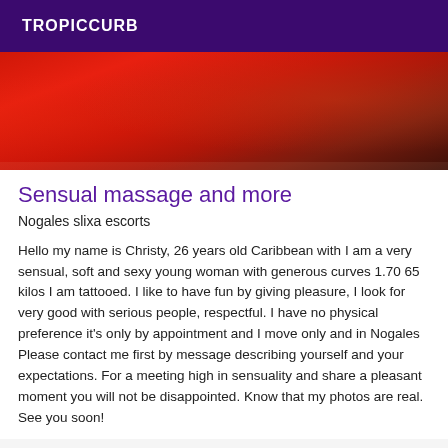TROPICCURB
[Figure (photo): Close-up photo of red fabric or clothing with skin visible at the edge, warm tones]
Sensual massage and more
Nogales slixa escorts
Hello my name is Christy, 26 years old Caribbean with I am a very sensual, soft and sexy young woman with generous curves 1.70 65 kilos I am tattooed. I like to have fun by giving pleasure, I look for very good with serious people, respectful. I have no physical preference it's only by appointment and I move only and in Nogales Please contact me first by message describing yourself and your expectations. For a meeting high in sensuality and share a pleasant moment you will not be disappointed. Know that my photos are real. See you soon!